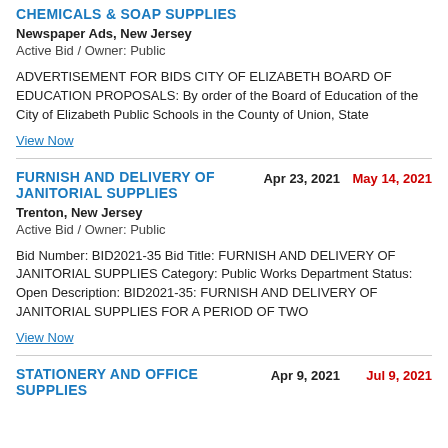CHEMICALS & SOAP SUPPLIES
Newspaper Ads, New Jersey
Active Bid / Owner: Public
ADVERTISEMENT FOR BIDS CITY OF ELIZABETH BOARD OF EDUCATION PROPOSALS: By order of the Board of Education of the City of Elizabeth Public Schools in the County of Union, State
View Now
FURNISH AND DELIVERY OF JANITORIAL SUPPLIES
Apr 23, 2021   May 14, 2021
Trenton, New Jersey
Active Bid / Owner: Public
Bid Number: BID2021-35 Bid Title: FURNISH AND DELIVERY OF JANITORIAL SUPPLIES Category: Public Works Department Status: Open Description: BID2021-35: FURNISH AND DELIVERY OF JANITORIAL SUPPLIES FOR A PERIOD OF TWO
View Now
STATIONERY AND OFFICE SUPPLIES
Apr 9, 2021   Jul 9, 2021